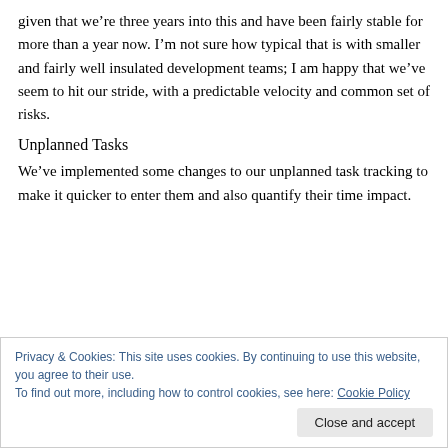given that we're three years into this and have been fairly stable for more than a year now. I'm not sure how typical that is with smaller and fairly well insulated development teams; I am happy that we've seem to hit our stride, with a predictable velocity and common set of risks.
Unplanned Tasks
We've implemented some changes to our unplanned task tracking to make it quicker to enter them and also quantify their time impact.
Privacy & Cookies: This site uses cookies. By continuing to use this website, you agree to their use.
To find out more, including how to control cookies, see here: Cookie Policy